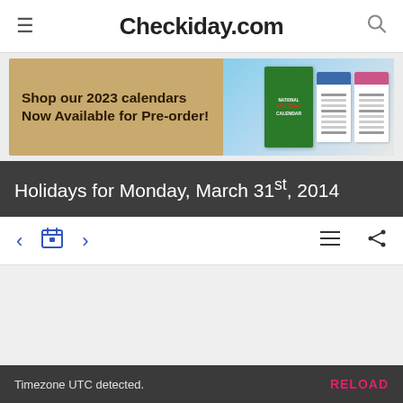Checkiday.com
[Figure (photo): Banner advertisement: Shop our 2023 calendars Now Available for Pre-order! with images of calendars on a wooden background]
Holidays for Monday, March 31st, 2014
< [calendar icon] > [list icon] [share icon]
Timezone UTC detected. RELOAD